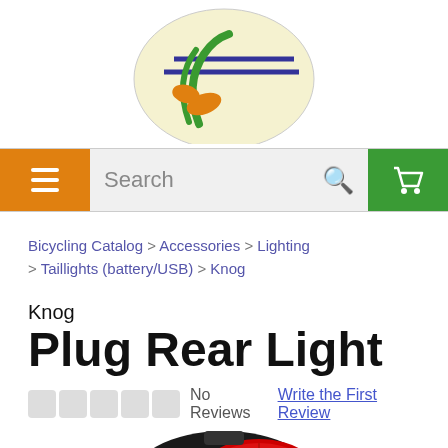[Figure (logo): Bicycle shop logo — partial view showing a circular emblem with green and orange ribbon/scissors motifs on a light yellow background with dark blue lines]
[Figure (screenshot): Website navigation bar with orange hamburger menu button on left, search field in center, and green shopping cart button on right]
Bicycling Catalog > Accessories > Lighting > Taillights (battery/USB) > Knog
Knog Plug Rear Light
No Reviews   Write the First Review
[Figure (photo): Partial view of Knog Plug Rear Light product — black body with red lens, shown from above/side angle]